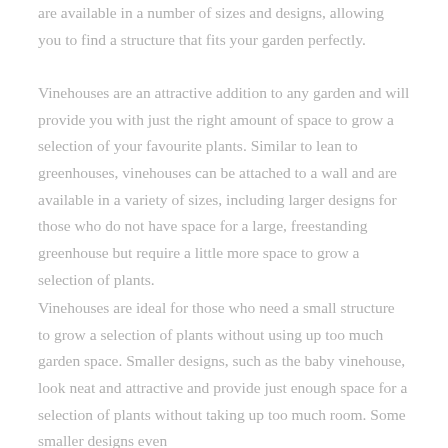are available in a number of sizes and designs, allowing you to find a structure that fits your garden perfectly.
Vinehouses are an attractive addition to any garden and will provide you with just the right amount of space to grow a selection of your favourite plants. Similar to lean to greenhouses, vinehouses can be attached to a wall and are available in a variety of sizes, including larger designs for those who do not have space for a large, freestanding greenhouse but require a little more space to grow a selection of plants.
Vinehouses are ideal for those who need a small structure to grow a selection of plants without using up too much garden space. Smaller designs, such as the baby vinehouse, look neat and attractive and provide just enough space for a selection of plants without taking up too much room. Some smaller designs even